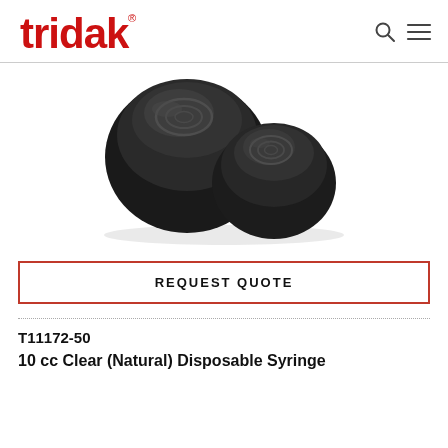tridak
[Figure (photo): Two black rubber stoppers/plungers for syringes, grouped together on a white background.]
REQUEST QUOTE
T11172-50
10 cc Clear (Natural) Disposable Syringe